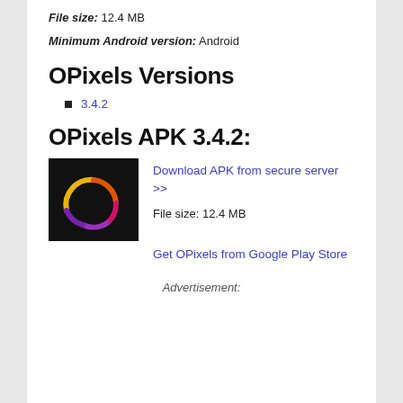File size: 12.4 MB
Minimum Android version: Android
OPixels Versions
3.4.2
OPixels APK 3.4.2:
[Figure (logo): OPixels app icon: black background with a colorful circular ring made of gradient colors (pink, purple, yellow)]
Download APK from secure server >>
File size: 12.4 MB
Get OPixels from Google Play Store
Advertisement: